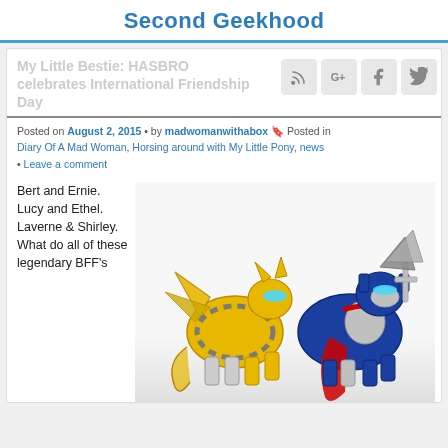Second Geekhood
My Little Bestie: HASBRO celebrates International Friendship Day
Posted on August 2, 2015 • by madwomanwithabox • Posted in Diary Of A Mad Woman, Horsing around with My Little Pony, news • Leave a comment
Bert and Ernie. Lucy and Ethel. Laverne & Shirley. What do all of these legendary BFF's
[Figure (photo): Two My Little Pony figures styled as Transformers: a yellow Bumblebee pony and a blue/silver Optimus Prime pony with red cape]